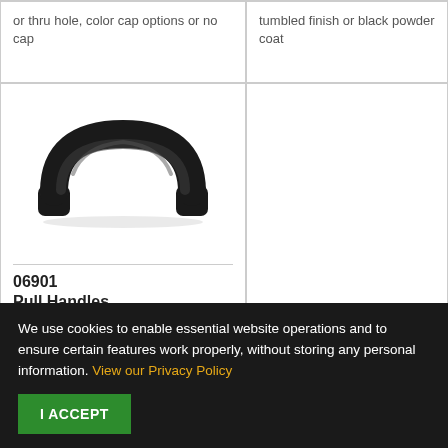or thru hole, color cap options or no cap
tumbled finish or black powder coat
[Figure (photo): Black powder-coated pull handle with rounded arch shape, product 06901]
06901
Pull Handles
We use cookies to enable essential website operations and to ensure certain features work properly, without storing any personal information. View our Privacy Policy
I ACCEPT